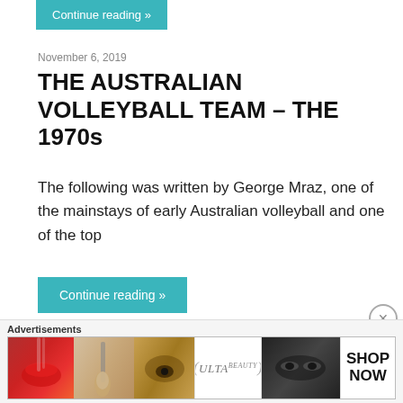Continue reading »
November 6, 2019
THE AUSTRALIAN VOLLEYBALL TEAM – THE 1970s
The following was written by George Mraz, one of the mainstays of early Australian volleyball and one of the top
Continue reading »
April 23, 2019
[Figure (screenshot): Advertisements banner with Ulta beauty ad showing cosmetics imagery and SHOP NOW text]